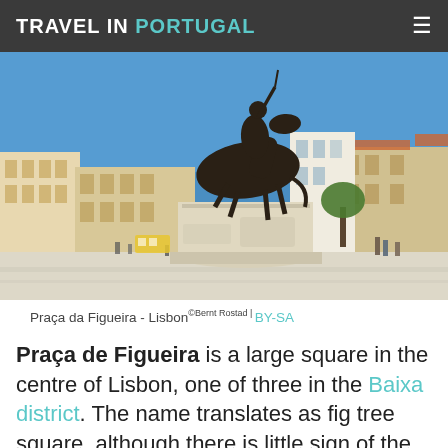TRAVEL IN PORTUGAL
[Figure (photo): Photograph of Praça da Figueira in Lisbon showing an equestrian statue on a tall white cylindrical pedestal in a large open square with historic buildings and clear blue sky in the background. People and a tram are visible in the square.]
Praça da Figueira - Lisbon ©Bernt Rostad | BY-SA
Praça de Figueira is a large square in the centre of Lisbon, one of three in the Baixa district. The name translates as fig tree square, although there is little sign of the